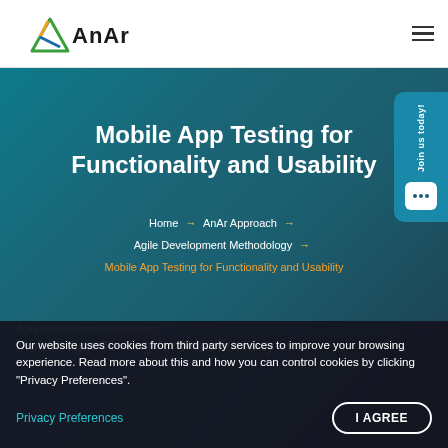AnAr logo and navigation hamburger menu
Mobile App Testing for Functionality and Usability
Home → AnAr Approach → Agile Development Methodology → Mobile App Testing for Functionality and Usability
[Figure (other): Join us today! sidebar button with chat bubble icon]
Our website uses cookies from third party services to improve your browsing experience. Read more about this and how you can control cookies by clicking "Privacy Preferences".
Privacy Preferences
I AGREE